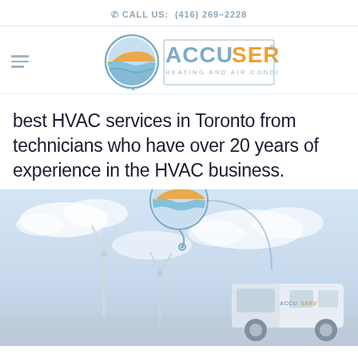CALL US: (416) 269-2228
[Figure (logo): AccuServ Heating and Air Conditioning logo with circular icon and text]
best HVAC services in Toronto from technicians who have over 20 years of experience in the HVAC business.
[Figure (photo): HVAC service van parked outdoors with wind turbines and cloudy sky background, AccuServ branding visible on van]